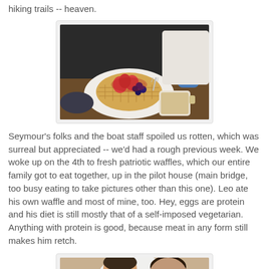hiking trails -- heaven.
[Figure (photo): A plate of waffles topped with strawberries and blueberries, with a cup of tea/coffee beside it, on a dark table in what appears to be a boat pilot house.]
Seymour's folks and the boat staff spoiled us rotten, which was surreal but appreciated -- we'd had a rough previous week. We woke up on the 4th to fresh patriotic waffles, which our entire family got to eat together, up in the pilot house (main bridge, too busy eating to take pictures other than this one). Leo ate his own waffle and most of mine, too. Hey, eggs are protein and his diet is still mostly that of a self-imposed vegetarian. Anything with protein is good, because meat in any form still makes him retch.
[Figure (photo): A person (Leo) eating, viewed from above, sitting at a table.]